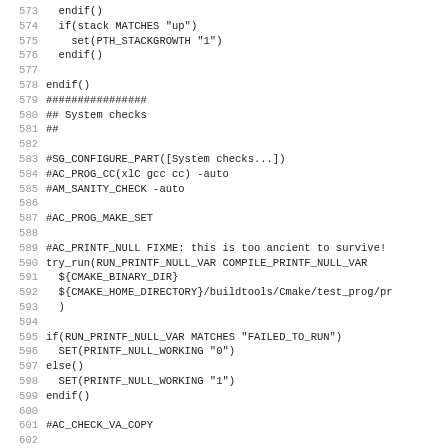Code listing lines 573-605, CMake script with system checks, stack growth detection, printf null checks, and va_copy definitions